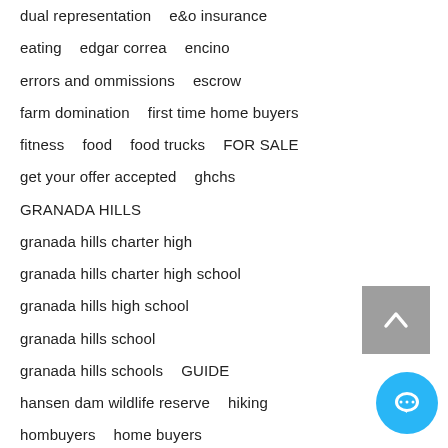dual representation   e&o insurance
eating   edgar correa   encino
errors and ommissions   escrow
farm domination   first time home buyers
fitness   food   food trucks   FOR SALE
get your offer accepted   ghchs
GRANADA HILLS
granada hills charter high
granada hills charter high school
granada hills high school
granada hills school
granada hills schools   GUIDE
hansen dam wildlife reserve   hiking
hombuyers   home buyers
Home Finding   home sellers